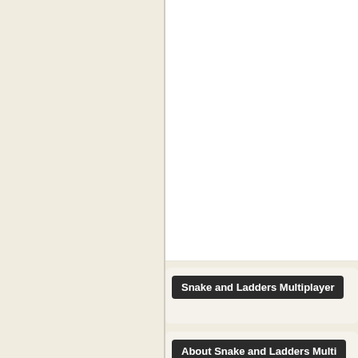Snake and Ladders Multiplayer
About Snake and Ladders Multi